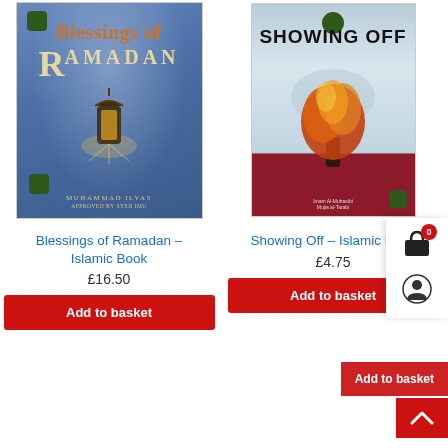[Figure (photo): Book cover: Blessings of Ramadan by Muhammad Ilyas, blue background with lantern and decorative text]
Blessings of Ramadan – Islamic Book
£16.50
Add to basket
[Figure (photo): Book cover: Showing Off – Islamic Book, with burning tree imagery and dark red lower band]
Showing Off – Islamic Book
£4.75
Add to basket
Add to basket